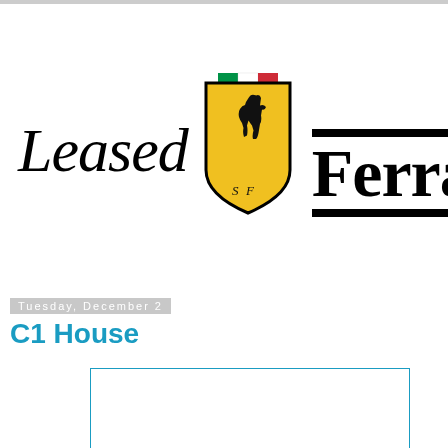[Figure (logo): Leased script text logo alongside Ferrari prancing horse shield logo and Ferrari wordmark with horizontal bars]
Tuesday, December 2
C1 House
[Figure (other): Empty white content box with cyan/blue border]